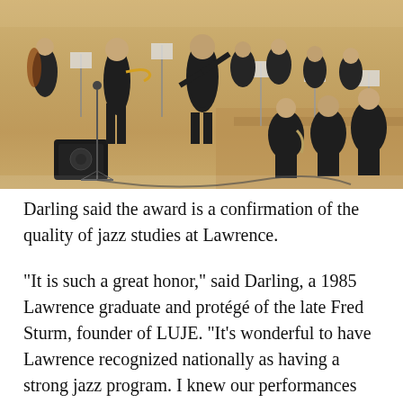[Figure (photo): A jazz ensemble performing on a concert hall stage with warm wood floors. Musicians dressed in black are seated with instruments including brass, saxophone, and percussion. A conductor stands at the front facing the ensemble, and a soloist with a microphone stands to the left.]
Darling said the award is a confirmation of the quality of jazz studies at Lawrence.
“It is such a great honor,” said Darling, a 1985 Lawrence graduate and protégé of the late Fred Sturm, founder of LUJE. “It’s wonderful to have Lawrence recognized nationally as having a strong jazz program. I knew our performances were very strong, but I also know how the